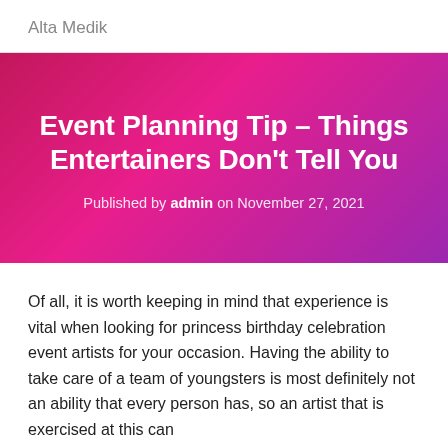Alta Medik
Event Planning Tip – Things Entertainers Don't Tell You
Published by admin on November 27, 2021
Of all, it is worth keeping in mind that experience is vital when looking for princess birthday celebration event artists for your occasion. Having the ability to take care of a team of youngsters is most definitely not an ability that every person has, so an artist that is exercised at this can